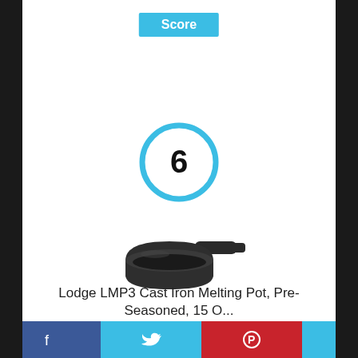Score
[Figure (infographic): Score badge showing number 6 inside a blue circle ring]
[Figure (photo): Lodge LMP3 Cast Iron Melting Pot product photo - small black cast iron pot with handle]
Lodge LMP3 Cast Iron Melting Pot, Pre-Seasoned, 15 O...
Facebook | Twitter | Pinterest | Email social share bar